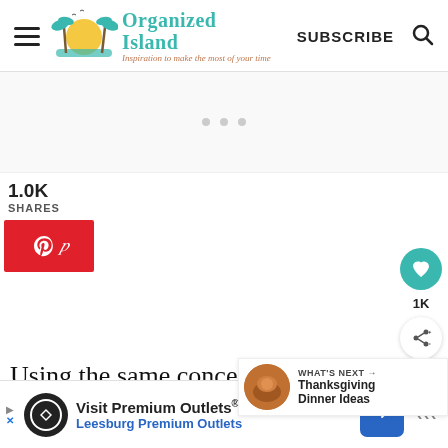Organized Island — Inspiration to make the most of your time
[Figure (other): Ad placeholder area with three dots]
1.0K
SHARES
[Figure (logo): Pinterest share button (red background with P icon)]
[Figure (other): Heart/like button (teal circle) with 1K count and share button below]
[Figure (other): What's Next widget with Thanksgiving Dinner Ideas link and food thumbnail]
Using the same concept of writing leaves, attach the construction paper le
[Figure (other): Advertisement banner: Visit Premium Outlets® / Leesburg Premium Outlets]